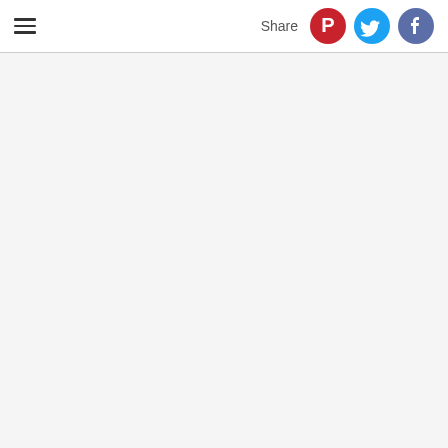≡  Share
[Figure (other): Empty content area with light gray background]